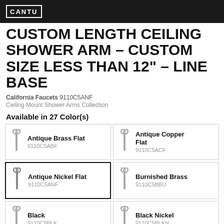CANTU
CUSTOM LENGTH CEILING SHOWER ARM – CUSTOM SIZE LESS THAN 12" – LINE BASE
California Faucets 9110C5ANF
Ceiling Mount Shower Arms Collection
Available in 27 Color(s)
| Image | Name | SKU |
| --- | --- | --- |
| [icon] | Antique Brass Flat | 9110C5ABF |
| [icon] | Antique Copper Flat | 9110C5ACF |
| [icon] | Antique Nickel Flat | 9110C5ANF |
| [icon] | Burnished Brass | 9110C5BBU |
| [icon] | Black | 9110C5BLK |
| [icon] | Black Nickel | 9110C5BLKN |